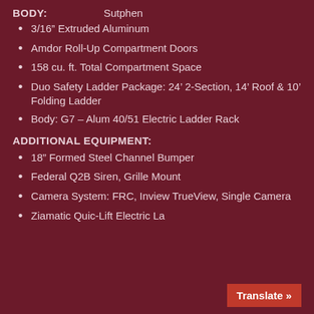BODY: Sutphen
3/16” Extruded Aluminum
Amdor Roll-Up Compartment Doors
158 cu. ft. Total Compartment Space
Duo Safety Ladder Package: 24’ 2-Section, 14’ Roof & 10’ Folding Ladder
Body: G7 – Alum 40/51 Electric Ladder Rack
ADDITIONAL EQUIPMENT:
18” Formed Steel Channel Bumper
Federal Q2B Siren, Grille Mount
Camera System: FRC, Inview TrueView, Single Camera
Ziamatic Quic-Lift Electric La…